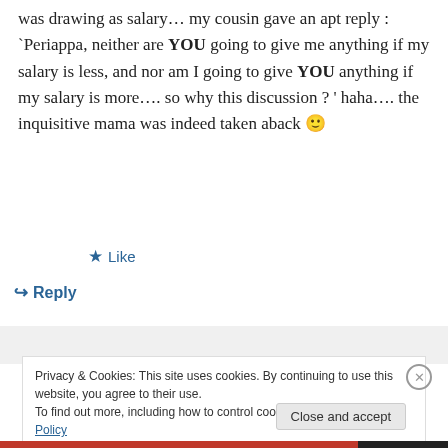was drawing as salary… my cousin gave an apt reply : `Periappa, neither are YOU going to give me anything if my salary is less, and nor am I going to give YOU anything if my salary is more…. so why this discussion ? ' haha…. the inquisitive mama was indeed taken aback 🙂
★ Like
↪ Reply
Privacy & Cookies: This site uses cookies. By continuing to use this website, you agree to their use.
To find out more, including how to control cookies, see here: Cookie Policy
Close and accept